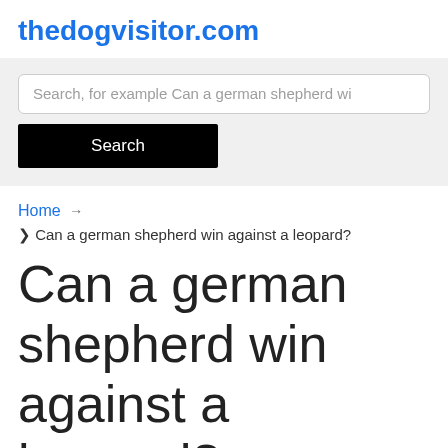thedogvisitor.com
[Figure (screenshot): Search bar with placeholder text 'Search, for example Can a german shepherd wi' and a black Search button below]
Home → ❯ Can a german shepherd win against a leopard?
Can a german shepherd win against a leopard?